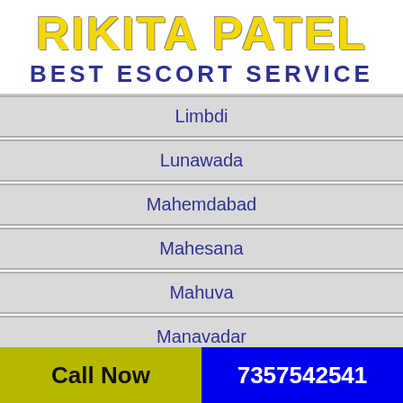RIKITA PATEL BEST ESCORT SERVICE
Limbdi
Lunawada
Mahemdabad
Mahesana
Mahuva
Manavadar
Call Now   7357542541